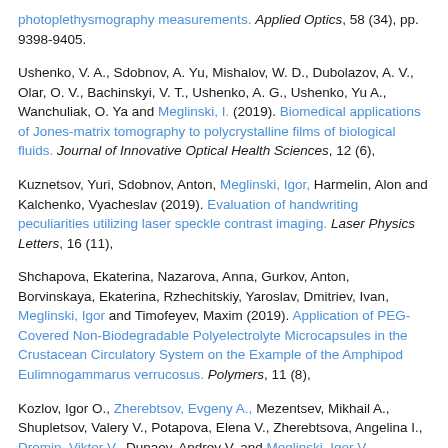photoplethysmography measurements. Applied Optics, 58 (34), pp. 9398-9405.
Ushenko, V. A., Sdobnov, A. Yu, Mishalov, W. D., Dubolazov, A. V., Olar, O. V., Bachinskyi, V. T., Ushenko, A. G., Ushenko, Yu A., Wanchuliak, O. Ya and Meglinski, I. (2019). Biomedical applications of Jones-matrix tomography to polycrystalline films of biological fluids. Journal of Innovative Optical Health Sciences, 12 (6),
Kuznetsov, Yuri, Sdobnov, Anton, Meglinski, Igor, Harmelin, Alon and Kalchenko, Vyacheslav (2019). Evaluation of handwriting peculiarities utilizing laser speckle contrast imaging. Laser Physics Letters, 16 (11),
Shchapova, Ekaterina, Nazarova, Anna, Gurkov, Anton, Borvinskaya, Ekaterina, Rzhechitskiy, Yaroslav, Dmitriev, Ivan, Meglinski, Igor and Timofeyev, Maxim (2019). Application of PEG-Covered Non-Biodegradable Polyelectrolyte Microcapsules in the Crustacean Circulatory System on the Example of the Amphipod Eulimnogammarus verrucosus. Polymers, 11 (8),
Kozlov, Igor O., Zherebtsov, Evgeny A., Mezentsev, Mikhail A., Shupletsov, Valery V., Potapova, Elena V., Zherebtsova, Angelina I., Dremin, Viktor V., Dunaev, Andrey V. and Meglinski, Igor V.